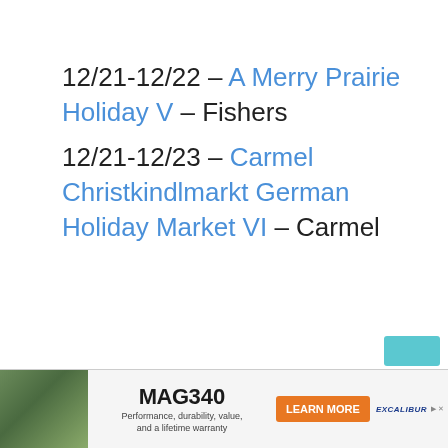12/21-12/22 – A Merry Prairie Holiday V – Fishers
12/21-12/23 – Carmel Christkindlmarkt German Holiday Market VI – Carmel
[Figure (other): Advertisement banner for MAG340 crossbow: soldier in camouflage aiming crossbow, orange Learn More button, Excalibur logo. Text: Performance, durability, value, and a lifetime warranty.]